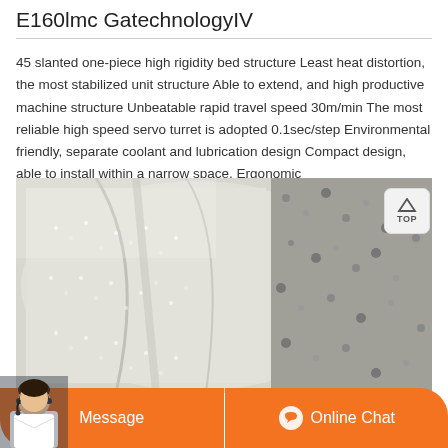E160lmc GatechnologyIV
45 slanted one-piece high rigidity bed structure Least heat distortion, the most stabilized unit structure Able to extend, and high productive machine structure Unbeatable rapid travel speed 30m/min The most reliable high speed servo turret is adopted 0.1sec/step Environmental friendly, separate coolant and lubrication design Compact design, able to install within a narrow space. Ergonomic
[Figure (photo): Photograph showing white granular material (pellets or powder) in plastic bags, with coarse gravel or aggregate visible in the background.]
Message   Online Chat